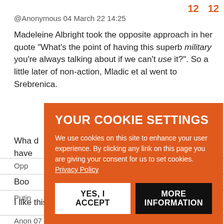12  12
@Anonymous 04 March 22 14:25
Madeleine Albright took the opposite approach in her quote "What's the point of having this superb military you're always talking about if we can't use it?". So a little later of non-action, Mladic et al went to Srebrenica.
Wha... d have...
Opp...
Boo... OOM
10
Putin...
7  15
I like this guy's moxie.
Anon 07 March 22 16:05
[Figure (screenshot): Cookie consent overlay with orange background. Title: YOUR COOKIE SETTINGS. Body text about cookie usage with Privacy Policy link. Two buttons: YES, I ACCEPT (white) and MORE INFORMATION (black).]